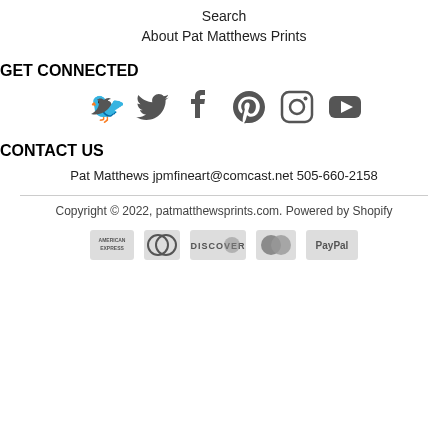Search
About Pat Matthews Prints
GET CONNECTED
[Figure (illustration): Social media icons: Twitter, Facebook, Pinterest, Instagram, YouTube]
CONTACT US
Pat Matthews jpmfineart@comcast.net 505-660-2158
Copyright © 2022, patmatthewsprints.com. Powered by Shopify
[Figure (logo): Payment method logos: American Express, Diners Club, Discover, Mastercard, PayPal]